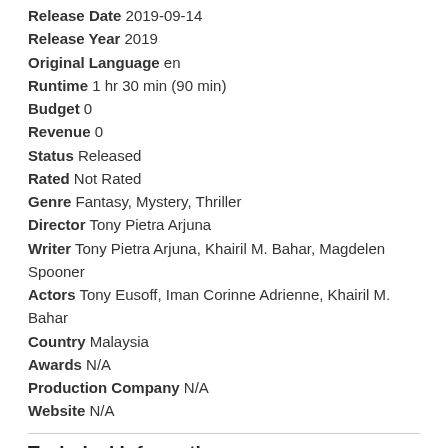Release Date 2019-09-14
Release Year 2019
Original Language en
Runtime 1 hr 30 min (90 min)
Budget 0
Revenue 0
Status Released
Rated Not Rated
Genre Fantasy, Mystery, Thriller
Director Tony Pietra Arjuna
Writer Tony Pietra Arjuna, Khairil M. Bahar, Magdelen Spooner
Actors Tony Eusoff, Iman Corinne Adrienne, Khairil M. Bahar
Country Malaysia
Awards N/A
Production Company N/A
Website N/A
Technical Information: